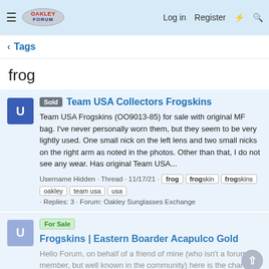Oakley Forum — Log in  Register
< Tags
frog
Sold  Team USA Collectors Frogskins
Team USA Frogskins (OO9013-85) for sale with original MF bag. I've never personally worn them, but they seem to be very lightly used. One small nick on the left lens and two small nicks on the right arm as noted in the photos. Other than that, I do not see any wear. Has original Team USA...
Username Hidden · Thread · 11/17/21 · frog  frogskin  frogskins  oakley  team usa  usa · Replies: 3 · Forum: Oakley Sunglasses Exchange
For Sale  Frogskins | Eastern Boarder Acapulco Gold
Hello Forum, on behalf of a friend of mine (who isn't a forum member, but well known in the community) here is the chance